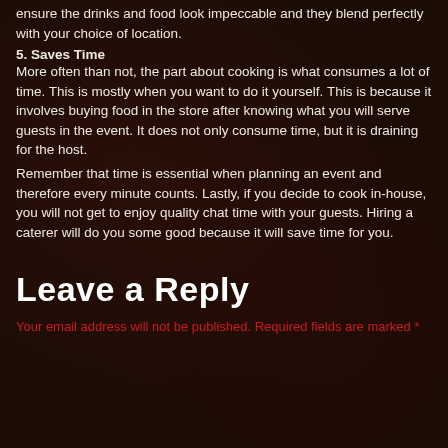ensure the drinks and food look impeccable and they blend perfectly with your choice of location.
5. Saves Time
More often than not, the part about cooking is what consumes a lot of time. This is mostly when you want to do it yourself. This is because it involves buying food in the store after knowing what you will serve guests in the event. It does not only consume time, but it is draining for the host.
Remember that time is essential when planning an event and therefore every minute counts. Lastly, if you decide to cook in-house, you will not get to enjoy quality chat time with your guests. Hiring a caterer will do you some good because it will save time for you.
Leave a Reply
Your email address will not be published. Required fields are marked *